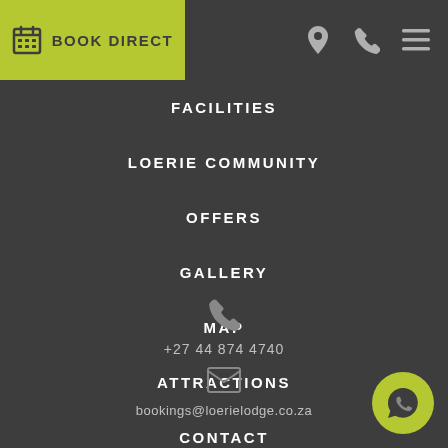[Figure (screenshot): Book Direct button with calendar icon on lime-green background]
[Figure (screenshot): Top navigation icons: map pin, phone, hamburger menu]
FACILITIES
LOERIE COMMUNITY
OFFERS
GALLERY
MAP
ATTRACTIONS
CONTACT
+27 44 874 4740
bookings@loerielodge.co.za